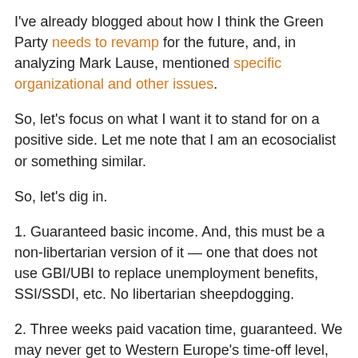I've already blogged about how I think the Green Party needs to revamp for the future, and, in analyzing Mark Lause, mentioned specific organizational and other issues.
So, let's focus on what I want it to stand for on a positive side. Let me note that I am an ecosocialist or something similar.
So, let's dig in.
1. Guaranteed basic income. And, this must be a non-libertarian version of it — one that does not use GBI/UBI to replace unemployment benefits, SSI/SSDI, etc. No libertarian sheepdogging.
2. Three weeks paid vacation time, guaranteed. We may never get to Western Europe's time-off level, but we should at least emulate Canada. Three weeks paid, guaranteed, after five years on a job, or after age 40 and three years on the same job. Sounds like a baseline. If Greens wanted to really be a party of the "working class," they'd push for this one right away.